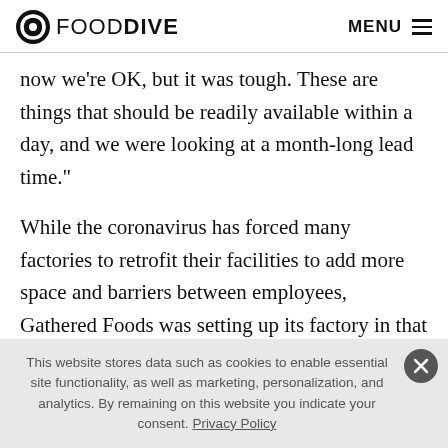FOOD DIVE | MENU
now we’re OK, but it was tough. These are things that should be readily available within a day, and we were looking at a month-long lead time.”
While the coronavirus has forced many factories to retrofit their facilities to add more space and barriers between employees, Gathered Foods was setting up its factory in that environment. Kerr said not much more needed to be done to spread employees out. Plant-based
This website stores data such as cookies to enable essential site functionality, as well as marketing, personalization, and analytics. By remaining on this website you indicate your consent. Privacy Policy